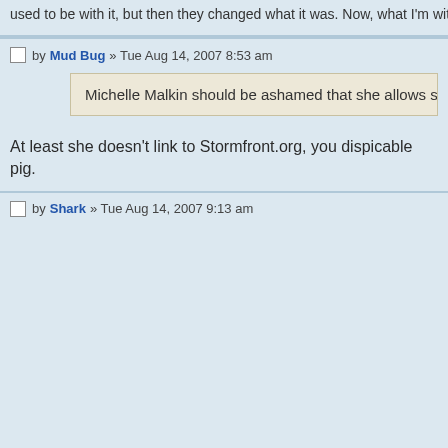used to be with it, but then they changed what it was. Now, what I'm with isn't it, and what seems weird and scary.
by Mud Bug » Tue Aug 14, 2007 8:53 am
Michelle Malkin should be ashamed that she allows such racism on her
At least she doesn't link to Stormfront.org, you dispicable pig.
by Shark » Tue Aug 14, 2007 9:13 am